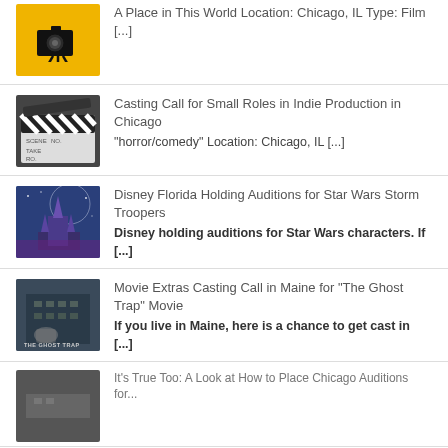A Place in This World Location: Chicago, IL Type: Film [...]
Casting Call for Small Roles in Indie Production in Chicago
"horror/comedy" Location: Chicago, IL [...]
Disney Florida Holding Auditions for Star Wars Storm Troopers
Disney holding auditions for Star Wars characters. If [...]
Movie Extras Casting Call in Maine for "The Ghost Trap" Movie
If you live in Maine, here is a chance to get cast in [...]
...